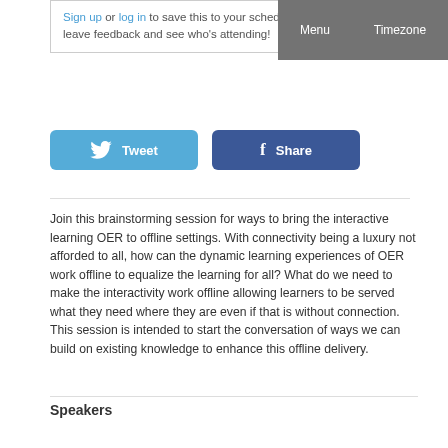Sign up or log in to save this to your schedule, view media, leave feedback and see who's attending!
[Figure (screenshot): Tweet and Share social buttons — Tweet button in light blue with Twitter bird icon, Share button in dark blue with Facebook f icon]
Join this brainstorming session for ways to bring the interactive learning OER to offline settings. With connectivity being a luxury not afforded to all, how can the dynamic learning experiences of OER work offline to equalize the learning for all? What do we need to make the interactivity work offline allowing learners to be served what they need where they are even if that is without connection. This session is intended to start the conversation of ways we can build on existing knowledge to enhance this offline delivery.
Speakers